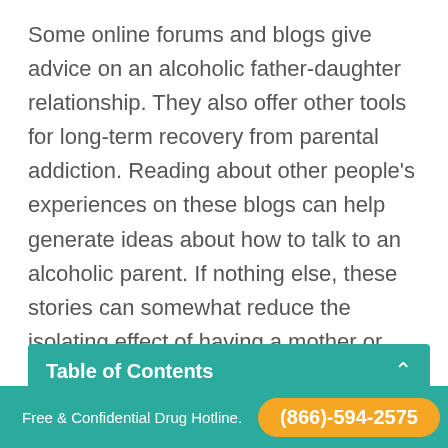Some online forums and blogs give advice on an alcoholic father-daughter relationship. They also offer other tools for long-term recovery from parental addiction. Reading about other people's experiences on these blogs can help generate ideas about how to talk to an alcoholic parent. If nothing else, these stories can somewhat reduce the isolating effect of having a mother or father who drinks.
Table of Contents
Getting Help for an Alcoholic
Free & Confidential Drug Hotline.  (866)-594-2575